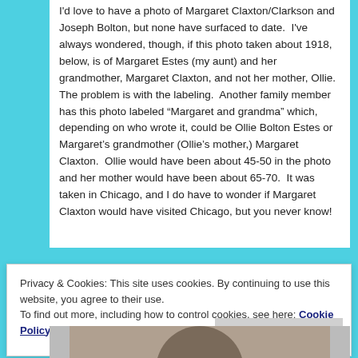I'd love to have a photo of Margaret Claxton/Clarkson and Joseph Bolton, but none have surfaced to date.  I've always wondered, though, if this photo taken about 1918, below, is of Margaret Estes (my aunt) and her grandmother, Margaret Claxton, and not her mother, Ollie.  The problem is with the labeling.  Another family member has this photo labeled “Margaret and grandma” which, depending on who wrote it, could be Ollie Bolton Estes or Margaret’s grandmother (Ollie’s mother,) Margaret Claxton.  Ollie would have been about 45-50 in the photo and her mother would have been about 65-70.  It was taken in Chicago, and I do have to wonder if Margaret Claxton would have visited Chicago, but you never know!
Privacy & Cookies: This site uses cookies. By continuing to use this website, you agree to their use.
To find out more, including how to control cookies, see here: Cookie Policy
[Figure (photo): Bottom portion of a black and white photograph showing the top of a person's head]